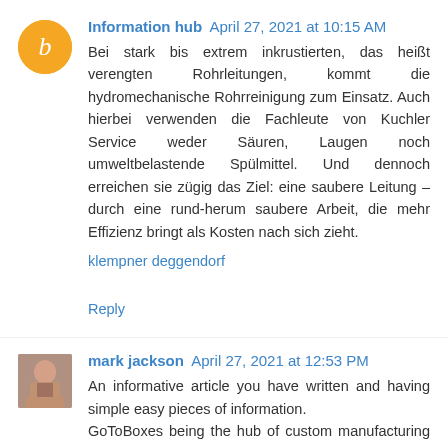Information hub April 27, 2021 at 10:15 AM
Bei stark bis extrem inkrustierten, das heißt verengten Rohrleitungen, kommt die hydromechanische Rohrreinigung zum Einsatz. Auch hierbei verwenden die Fachleute von Kuchler Service weder Säuren, Laugen noch umweltbelastende Spülmittel. Und dennoch erreichen sie zügig das Ziel: eine saubere Leitung – durch eine rund-herum saubere Arbeit, die mehr Effizienz bringt als Kosten nach sich zieht.
klempner deggendorf
Reply
mark jackson April 27, 2021 at 12:53 PM
An informative article you have written and having simple easy pieces of information.
GoToBoxes being the hub of custom manufacturing always